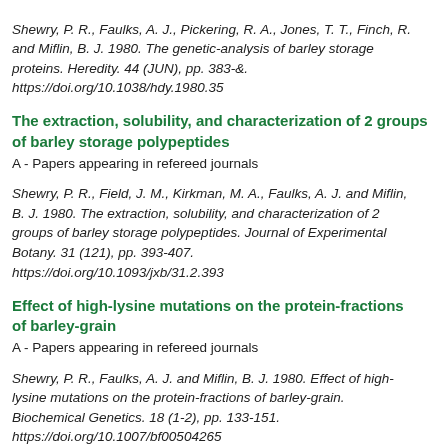Shewry, P. R., Faulks, A. J., Pickering, R. A., Jones, T. T., Finch, R. and Miflin, B. J. 1980. The genetic-analysis of barley storage proteins. Heredity. 44 (JUN), pp. 383-&. https://doi.org/10.1038/hdy.1980.35
The extraction, solubility, and characterization of 2 groups of barley storage polypeptides
A - Papers appearing in refereed journals
Shewry, P. R., Field, J. M., Kirkman, M. A., Faulks, A. J. and Miflin, B. J. 1980. The extraction, solubility, and characterization of 2 groups of barley storage polypeptides. Journal of Experimental Botany. 31 (121), pp. 393-407. https://doi.org/10.1093/jxb/31.2.393
Effect of high-lysine mutations on the protein-fractions of barley-grain
A - Papers appearing in refereed journals
Shewry, P. R., Faulks, A. J. and Miflin, B. J. 1980. Effect of high-lysine mutations on the protein-fractions of barley-grain. Biochemical Genetics. 18 (1-2), pp. 133-151. https://doi.org/10.1007/bf00504265